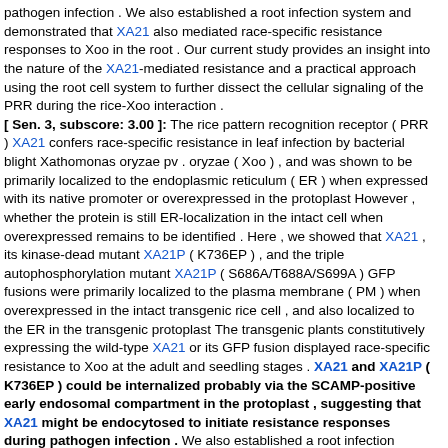pathogen infection . We also established a root infection system and demonstrated that XA21 also mediated race-specific resistance responses to Xoo in the root . Our current study provides an insight into the nature of the XA21-mediated resistance and a practical approach using the root cell system to further dissect the cellular signaling of the PRR during the rice-Xoo interaction .
[ Sen. 3, subscore: 3.00 ]: The rice pattern recognition receptor ( PRR ) XA21 confers race-specific resistance in leaf infection by bacterial blight Xathomonas oryzae pv . oryzae ( Xoo ) , and was shown to be primarily localized to the endoplasmic reticulum ( ER ) when expressed with its native promoter or overexpressed in the protoplast However , whether the protein is still ER-localization in the intact cell when overexpressed remains to be identified . Here , we showed that XA21 , its kinase-dead mutant XA21P ( K736EP ) , and the triple autophosphorylation mutant XA21P ( S686A/T688A/S699A ) GFP fusions were primarily localized to the plasma membrane ( PM ) when overexpressed in the intact transgenic rice cell , and also localized to the ER in the transgenic protoplast The transgenic plants constitutively expressing the wild-type XA21 or its GFP fusion displayed race-specific resistance to Xoo at the adult and seedling stages . XA21 and XA21P ( K736EP ) could be internalized probably via the SCAMP-positive early endosomal compartment in the protoplast , suggesting that XA21 might be endocytosed to initiate resistance responses during pathogen infection . We also established a root infection system and demonstrated that XA21 also mediated race-specific resistance responses to Xoo in the root . Our current study provides an insight into the nature of the XA21-mediated resistance and a practical approach using the root cell system to further dissect the cellular signaling of the PRR during the rice-Xoo interaction .
[ Sen. 1, subscore: 1.00 ]: The rice pattern recognition receptor ( PRR ) XA21 confers race-specific resistance in leaf infection by